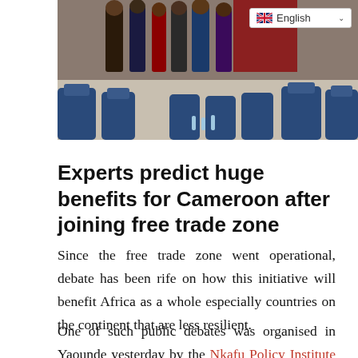[Figure (photo): Group photo of people standing in a room with blue conference chairs, partially visible. An English language selector dropdown appears in the top right corner of the image.]
Experts predict huge benefits for Cameroon after joining free trade zone
Since the free trade zone went operational, debate has been rife on how this initiative will benefit Africa as a whole especially countries on the continent that are less resilient.
One of such public debates was organised in Yaounde yesterday by the Nkafu Policy Institute to examine the benefits of the free trade zone to Cameroon's economy